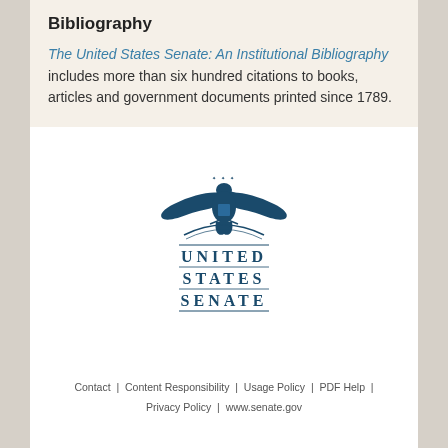Bibliography
The United States Senate: An Institutional Bibliography includes more than six hundred citations to books, articles and government documents printed since 1789.
[Figure (logo): United States Senate official seal/logo with eagle and text UNITED STATES SENATE]
Contact | Content Responsibility | Usage Policy | PDF Help | Privacy Policy | www.senate.gov